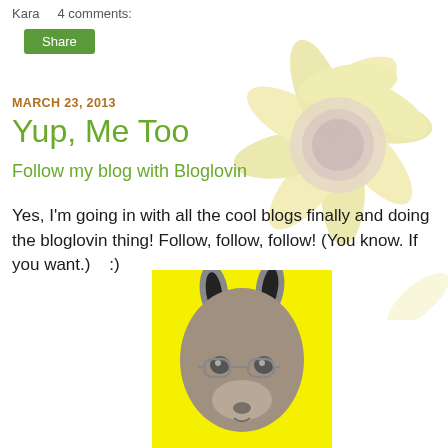Kara    4 comments:
Share
MARCH 23, 2013
Yup, Me Too
Follow my blog with Bloglovin
Yes, I'm going in with all the cool blogs finally and doing the bloglovin thing! Follow, follow, follow! (You know. If you want.)   :)
[Figure (photo): A kangaroo illustrated with glasses on a yellow background, looking straight ahead with a serious expression.]